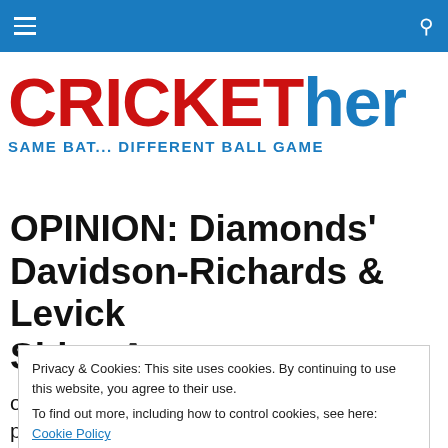CRICKETher — SAME BAT... DIFFERENT BALL GAME (navigation bar with hamburger menu and search icon)
[Figure (logo): CRICKETher logo: 'CRICKET' in red bold, 'her' in blue bold, tagline 'SAME BAT... DIFFERENT BALL GAME' in blue]
OPINION: Diamonds' Davidson-Richards & Levick Shine As…
Privacy & Cookies: This site uses cookies. By continuing to use this website, you agree to their use.
To find out more, including how to control cookies, see here: Cookie Policy
Close and accept
on the big international names – the England players and